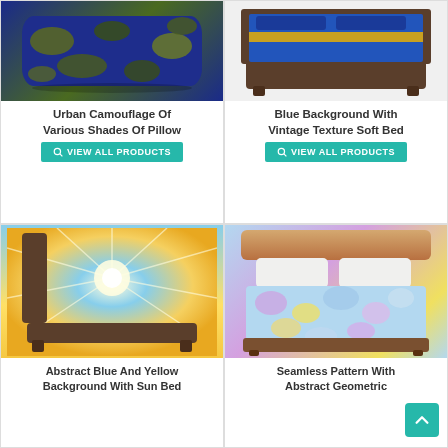[Figure (photo): Urban camouflage pillow in navy blue and olive/gold tones]
Urban Camouflage Of Various Shades Of Pillow
VIEW ALL PRODUCTS
[Figure (photo): Blue background with vintage texture soft bed with gold/yellow horizontal stripe]
Blue Background With Vintage Texture Soft Bed
VIEW ALL PRODUCTS
[Figure (photo): Abstract blue and yellow background with sun rays bed]
Abstract Blue And Yellow Background With Sun Bed
[Figure (photo): Seamless pattern with abstract geometric colorful watercolor comforter on bed]
Seamless Pattern With Abstract Geometric